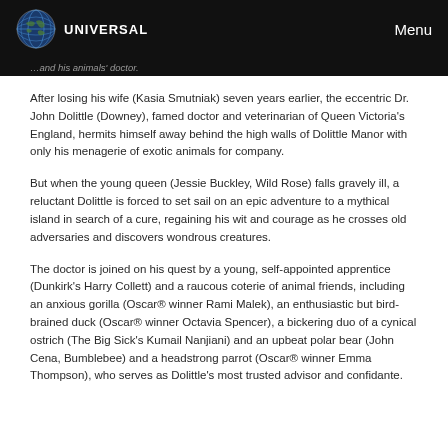UNIVERSAL  Menu
…and his animals' doctor.
After losing his wife (Kasia Smutniak) seven years earlier, the eccentric Dr. John Dolittle (Downey), famed doctor and veterinarian of Queen Victoria's England, hermits himself away behind the high walls of Dolittle Manor with only his menagerie of exotic animals for company.
But when the young queen (Jessie Buckley, Wild Rose) falls gravely ill, a reluctant Dolittle is forced to set sail on an epic adventure to a mythical island in search of a cure, regaining his wit and courage as he crosses old adversaries and discovers wondrous creatures.
The doctor is joined on his quest by a young, self-appointed apprentice (Dunkirk's Harry Collett) and a raucous coterie of animal friends, including an anxious gorilla (Oscar® winner Rami Malek), an enthusiastic but bird-brained duck (Oscar® winner Octavia Spencer), a bickering duo of a cynical ostrich (The Big Sick's Kumail Nanjiani) and an upbeat polar bear (John Cena, Bumblebee) and a headstrong parrot (Oscar® winner Emma Thompson), who serves as Dolittle's most trusted advisor and confidante.